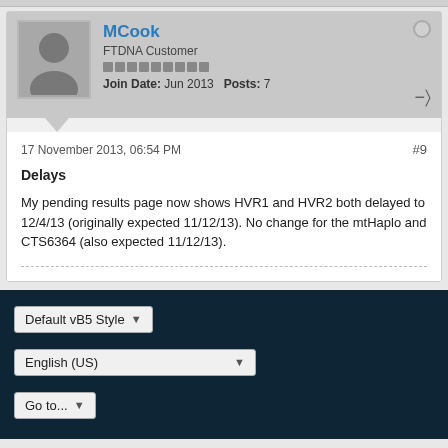MCook
FTDNA Customer
Join Date: Jun 2013  Posts: 7
17 November 2013, 06:54 PM
#9
Delays
My pending results page now shows HVR1 and HVR2 both delayed to 12/4/13 (originally expected 11/12/13). No change for the mtHaplo and CTS6364 (also expected 11/12/13).
Default vB5 Style
English (US)
Go to...
Powered by vBulletin® Version 5.6.9
Copyright © 2022 vBulletin Solutions, Inc. All rights reserved.
All times are GMT-6. This page was generated at 03:19 AM.